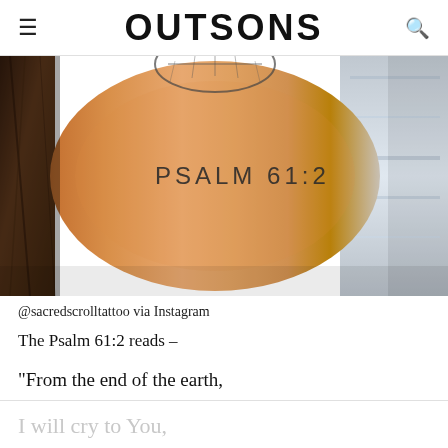OUTSONS
[Figure (photo): Close-up photo of a forearm tattoo reading 'PSALM 61:2' in capital letters, with a partial tattoo visible at the top. Background shows a wooden floor on the left and plastic/silver material on the right.]
@sacredscrolltattoo via Instagram
The Psalm 61:2 reads –
“From the end of the earth,
I will cry to You,